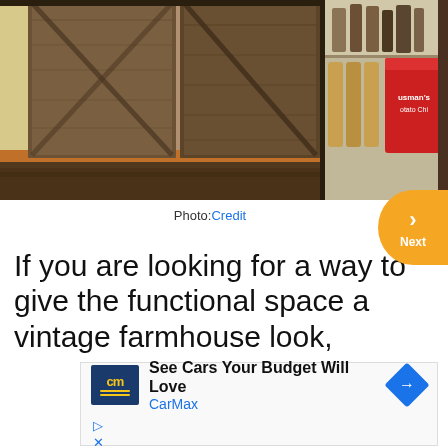[Figure (photo): A rustic barn-style wooden door with diagonal cross planks, partially open to reveal a pantry shelf with bottles, jars, and a red Husman's Potato Chips can on a dark hardwood floor.]
Photo Credit
If you are looking for a way to give the functional space a vintage farmhouse look,
[Figure (other): CarMax advertisement: See Cars Your Budget Will Love - CarMax logo with play and close buttons]